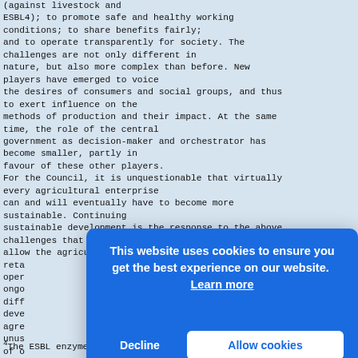(against livestock and ESBL4); to promote safe and healthy working conditions; to share benefits fairly; and to operate transparently for society. The challenges are not only different in nature, but also more complex than before. New players have emerged to voice the desires of consumers and social groups, and thus to exert influence on the methods of production and their impact. At the same time, the role of the central government as decision-maker and orchestrator has become smaller, partly in favour of these other players. For the Council, it is unquestionable that virtually every agricultural enterprise can and will eventually have to become more sustainable. Continuing sustainable development is the response to the above challenges that will allow the agriculture and horticulture sector to retain its licence to operate, and to maintain its ongoing licence to develop, despite differing views and interests. A sustainable development agenda also calls for an unusual degree of integration of otherwise separate dimensions of sustainability in a single approach.
[Figure (screenshot): Cookie consent overlay banner with blue background. Text: 'This website uses cookies to ensure you get the best experience on our website. Learn more'. Two buttons: 'Decline' and 'Allow cookies'.]
4The ESBL enzyme is created by some intestinal